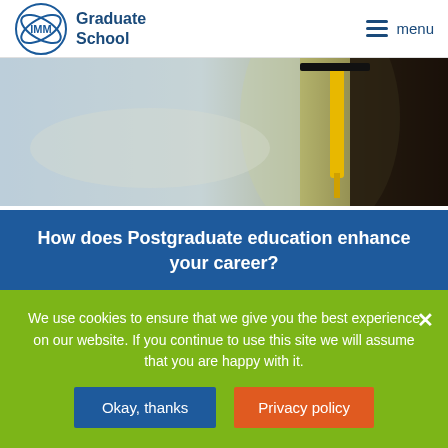IMM Graduate School — menu
[Figure (photo): A person in graduation cap and gown holding a yellow tassel, blurred outdoor background]
How does Postgraduate education enhance your career?
Choosing a degree should depend on your passions and interest. Achieving a bachelor's degree in your chosen field is likely to open doors for you in the workforce but going…
We use cookies to ensure that we give you the best experience on our website. If you continue to use this site we will assume that you are happy with it.
Okay, thanks
Privacy policy